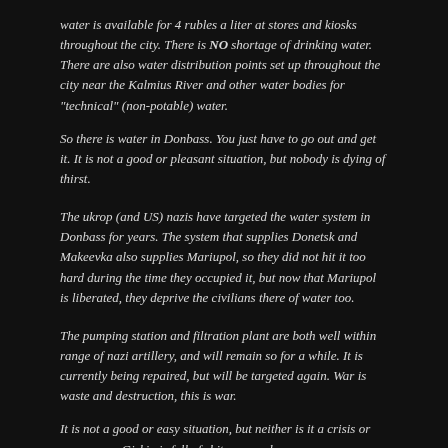water is available for 4 rubles a liter at stores and kiosks throughout the city. There is NO shortage of drinking water. There are also water distribution points set up throughout the city near the Kalmius River and other water bodies for "technical" (non-potable) water.
So there is water in Donbass. You just have to go out and get it. It is not a good or pleasant situation, but nobody is dying of thirst.
The ukrop (and US) nazis have targeted the water system in Donbass for years. The system that supplies Donetsk and Makeevka also supplies Mariupol, so they did not hit it too hard during the time they occupied it, but now that Mariupol is liberated, they deprive the civilians there of water too.
The pumping station and filtration plant are both well within range of nazi artillery, and will remain so for a while. It is currently being repaired, but will be targeted again. War is waste and destruction, this is war.
It is not a good or easy situation, but neither is it a crisis or emergency. Girkin is full of shit, as usual.